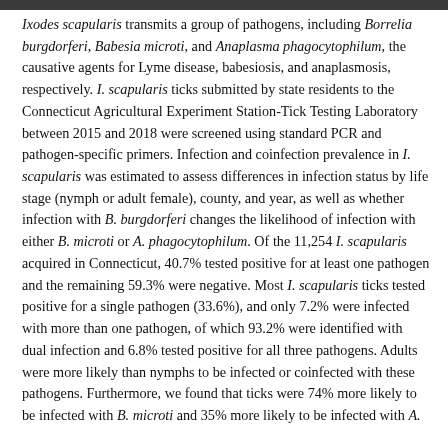Ixodes scapularis transmits a group of pathogens, including Borrelia burgdorferi, Babesia microti, and Anaplasma phagocytophilum, the causative agents for Lyme disease, babesiosis, and anaplasmosis, respectively. I. scapularis ticks submitted by state residents to the Connecticut Agricultural Experiment Station-Tick Testing Laboratory between 2015 and 2018 were screened using standard PCR and pathogen-specific primers. Infection and coinfection prevalence in I. scapularis was estimated to assess differences in infection status by life stage (nymph or adult female), county, and year, as well as whether infection with B. burgdorferi changes the likelihood of infection with either B. microti or A. phagocytophilum. Of the 11,254 I. scapularis acquired in Connecticut, 40.7% tested positive for at least one pathogen and the remaining 59.3% were negative. Most I. scapularis ticks tested positive for a single pathogen (33.6%), and only 7.2% were infected with more than one pathogen, of which 93.2% were identified with dual infection and 6.8% tested positive for all three pathogens. Adults were more likely than nymphs to be infected or coinfected with these pathogens. Furthermore, we found that ticks were 74% more likely to be infected with B. microti and 35% more likely to be infected with A.